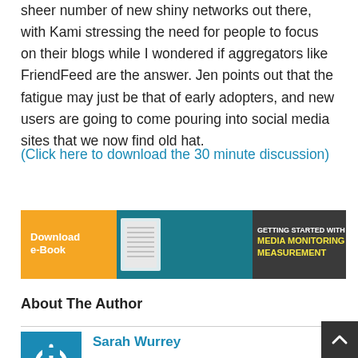sheer number of new shiny networks out there, with Kami stressing the need for people to focus on their blogs while I wondered if aggregators like FriendFeed are the answer. Jen points out that the fatigue may just be that of early adopters, and new users are going to come pouring into social media sites that we now find old hat.
(Click here to download the 30 minute discussion)
[Figure (infographic): Banner advertisement for an e-Book: 'Getting Started with Media Monitoring and Measurement'. Orange section on left with 'Download e-Book' text, center shows an open book image on teal/dark background, right dark gray section with yellow bold text 'GETTING STARTED WITH MEDIA MONITORING AND MEASUREMENT'.]
About The Author
[Figure (logo): Blue square with white power button icon inside]
Sarah Wurrey